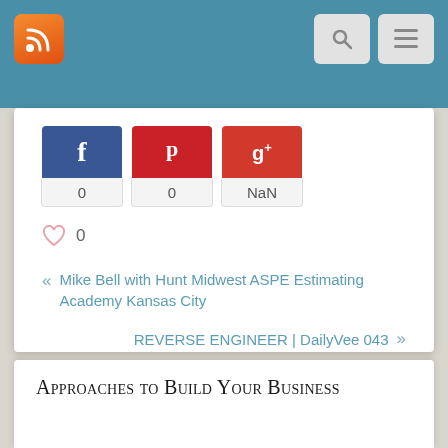[Figure (screenshot): Top navigation bar with RSS icon (orange), search icon, and hamburger menu icon on teal/blue background]
[Figure (screenshot): Social share buttons: Facebook (f) with count 0, Pinterest with count 0, Google+ with count NaN]
0
« Mike Bell with Hunt Midwest ASPE Estimating Academy Kansas City
REVERSE ENGINEER | DailyVee 043 »
Approaches to Build Your Business